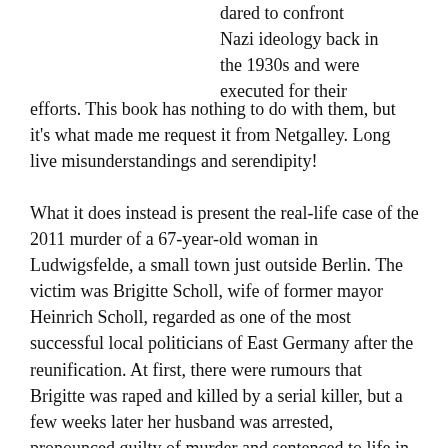dared to confront Nazi ideology back in the 1930s and were executed for their efforts. This book has nothing to do with them, but it's what made me request it from Netgalley. Long live misunderstandings and serendipity!
What it does instead is present the real-life case of the 2011 murder of a 67-year-old woman in Ludwigsfelde, a small town just outside Berlin. The victim was Brigitte Scholl, wife of former mayor Heinrich Scholl, regarded as one of the most successful local politicians of East Germany after the reunification. At first, there were rumours that Brigitte was raped and killed by a serial killer, but a few weeks later her husband was arrested, pronounced guilty of murder and sentenced to life in prison. To this day, he pleads not guilty and